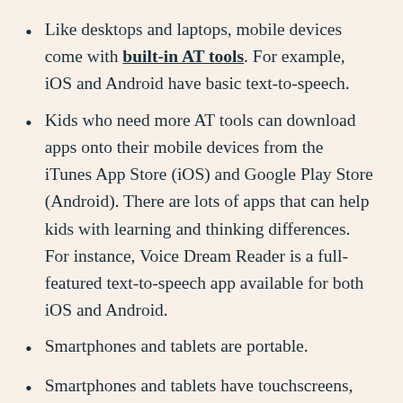Like desktops and laptops, mobile devices come with built-in AT tools. For example, iOS and Android have basic text-to-speech.
Kids who need more AT tools can download apps onto their mobile devices from the iTunes App Store (iOS) and Google Play Store (Android). There are lots of apps that can help kids with learning and thinking differences. For instance, Voice Dream Reader is a full-featured text-to-speech app available for both iOS and Android.
Smartphones and tablets are portable.
Smartphones and tablets have touchscreens, which some kids with